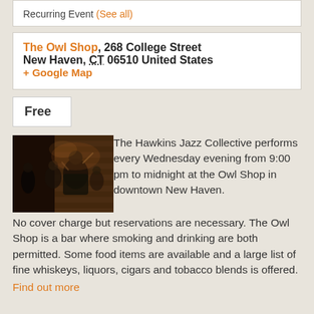Recurring Event (See all)
The Owl Shop, 268 College Street New Haven, CT 06510 United States + Google Map
Free
[Figure (photo): Jazz musicians performing on stage at The Owl Shop, a dimly lit bar with brick walls]
The Hawkins Jazz Collective performs every Wednesday evening from 9:00 pm to midnight at the Owl Shop in downtown New Haven.  No cover charge but reservations are necessary.  The Owl Shop is a bar where smoking and drinking are both permitted.  Some food items are available and a large list of fine whiskeys, liquors, cigars and tobacco blends is offered.
Find out more